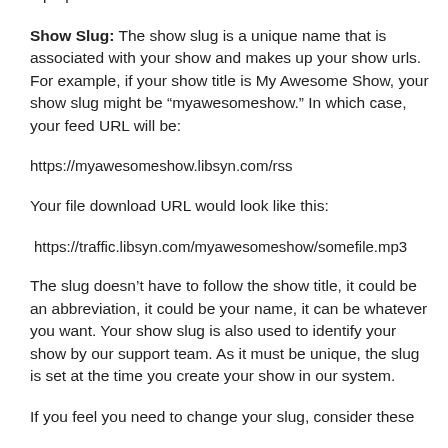field. This is not permitted in Apple Podcasts. Only provide a proper show title.
Show Slug: The show slug is a unique name that is associated with your show and makes up your show urls. For example, if your show title is My Awesome Show, your show slug might be “myawesomeshow.” In which case, your feed URL will be:
https://myawesomeshow.libsyn.com/rss
Your file download URL would look like this:
https://traffic.libsyn.com/myawesomeshow/somefile.mp3
The slug doesn’t have to follow the show title, it could be an abbreviation, it could be your name, it can be whatever you want. Your show slug is also used to identify your show by our support team. As it must be unique, the slug is set at the time you create your show in our system.
If you feel you need to change your slug, consider these